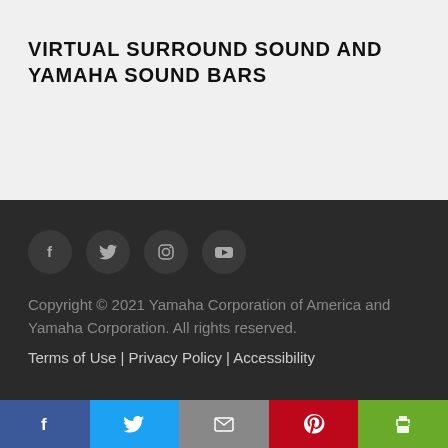VIRTUAL SURROUND SOUND AND YAMAHA SOUND BARS
[Figure (other): Social media icons: Facebook, Twitter, Instagram, YouTube — dark circles on dark background]
Copyright © 2021 Yamaha Corporation of America and Yamaha Corporation. All rights reserved.
Terms of Use | Privacy Policy | Accessibility
[Figure (other): Social sharing bar with Facebook (blue), Twitter (light blue), Email (gray), Pinterest (red), Print (green) buttons]